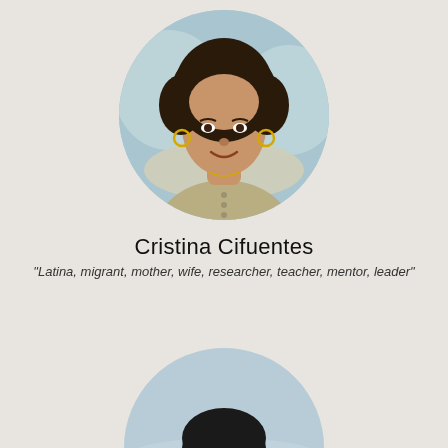[Figure (photo): Circular cropped portrait photo of Cristina Cifuentes, a woman with curly dark hair, wearing gold hoop earrings and a light olive/beige sleeveless top with small button details, smiling, photographed outdoors with a blurred background.]
Cristina Cifuentes
"Latina, migrant, mother, wife, researcher, teacher, mentor, leader"
[Figure (photo): Circular cropped portrait photo of a man wearing a black bicycle helmet and glasses, photographed outdoors near what appears to be a waterfront or coastal area, partially cut off at the bottom of the page.]